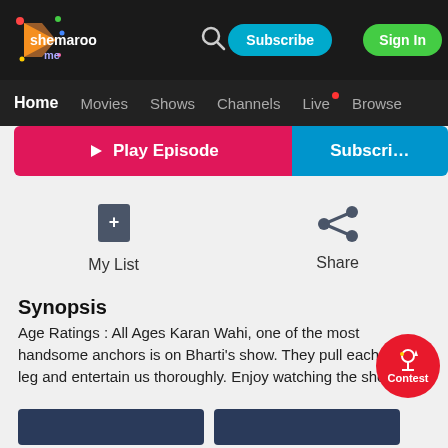shemaroo me — Subscribe | Sign In
[Figure (screenshot): Shemaroo Me logo in top navigation bar]
Home  Movies  Shows  Channels  Live  Browse
▶ Play Episode  Subscribe
[Figure (infographic): My List (bookmark icon) and Share (share icon) action buttons]
Synopsis
Age Ratings : All Ages Karan Wahi, one of the most handsome anchors is on Bharti's show. They pull each other's leg and entertain us thoroughly. Enjoy watching the show.
All Episodes
See all